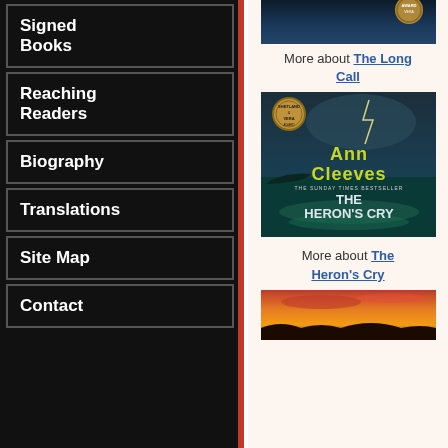Signed Books
Reaching Readers
Biography
Translations
Site Map
Contact
[Figure (photo): Book cover of The Long Call by Ann Cleeves (partially visible at top)]
More about The Long Call
[Figure (photo): Book cover of The Heron's Cry by Ann Cleeves - teal ocean scene with lightning, THE SUNDAY TIMES BESTSELLER subtitle, Shetland/Vera award badge]
More about The Heron's Cry
[Figure (photo): Bottom book cover partially visible - warm orange/red sunset sky]